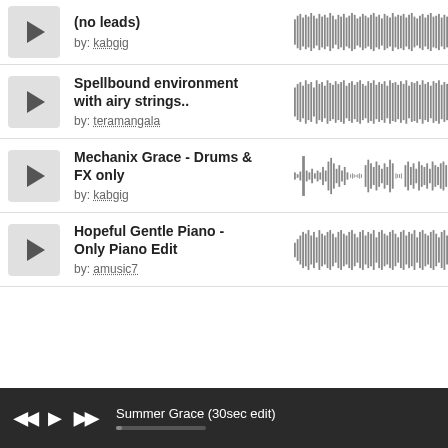(no leads) by: kabgig
Spellbound environment with airy strings.. by: teramangala
Mechanix Grace - Drums & FX only by: kabgig
Hopeful Gentle Piano - Only Piano Edit by: amusic7
[Figure (other): Waveform thumbnail for (no leads) track]
[Figure (other): Waveform thumbnail for Spellbound environment track]
[Figure (other): Waveform thumbnail for Mechanix Grace track]
[Figure (other): Waveform thumbnail for Hopeful Gentle Piano track]
Summer Grace (30sec edit)